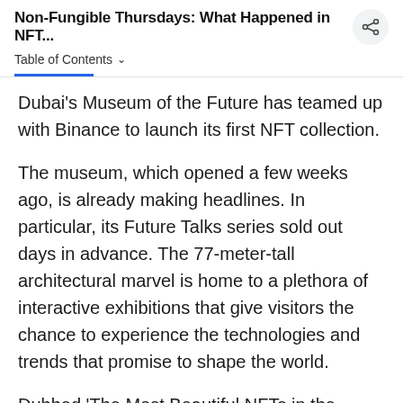Non-Fungible Thursdays: What Happened in NFT...
Table of Contents
Dubai's Museum of the Future has teamed up with Binance to launch its first NFT collection.
The museum, which opened a few weeks ago, is already making headlines. In particular, its Future Talks series sold out days in advance. The 77-meter-tall architectural marvel is home to a plethora of interactive exhibitions that give visitors the chance to experience the technologies and trends that promise to shape the world.
Dubbed 'The Most Beautiful NFTs in the Metaverse,' the NFTs will be released in the coming weeks as a metaverse counterpart to the Museum of the Future